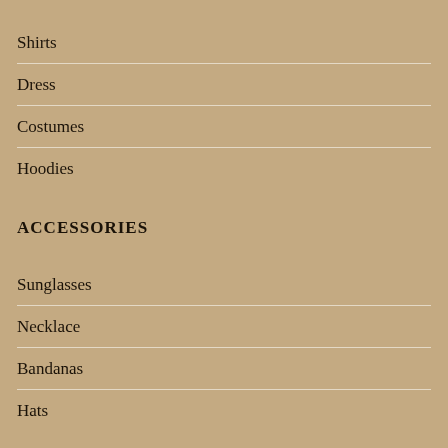Shirts
Dress
Costumes
Hoodies
ACCESSORIES
Sunglasses
Necklace
Bandanas
Hats
FOOD